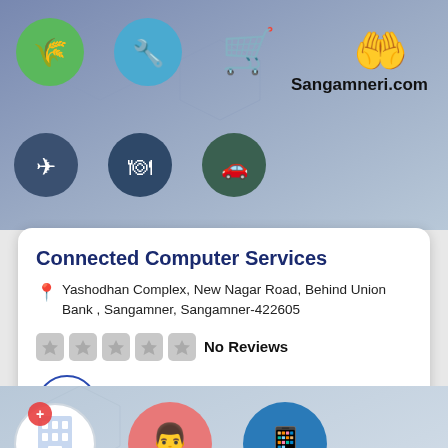[Figure (screenshot): Top banner with colorful category icons on blue-grey gradient background with Sangamneri.com watermark]
Connected Computer Services
Yashodhan Complex, New Nagar Road, Behind Union Bank , Sangamner, Sangamner-422605
No Reviews
repair and services
[Figure (screenshot): Bottom banner with medical and services category icons on grey-blue gradient background including hospital, doctor, mobile health, jacket, TV, and car icons]